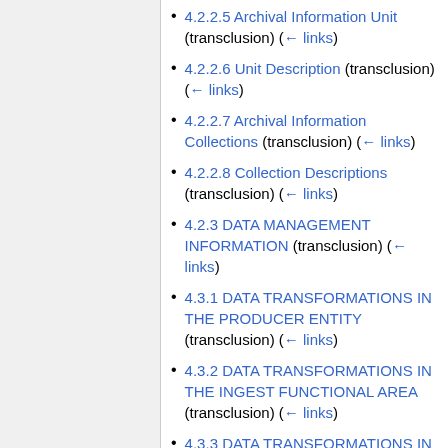4.2.2.5 Archival Information Unit (transclusion)  (← links)
4.2.2.6 Unit Description (transclusion)  (← links)
4.2.2.7 Archival Information Collections (transclusion)  (← links)
4.2.2.8 Collection Descriptions (transclusion)  (← links)
4.2.3 DATA MANAGEMENT INFORMATION (transclusion)  (← links)
4.3.1 DATA TRANSFORMATIONS IN THE PRODUCER ENTITY (transclusion)  (← links)
4.3.2 DATA TRANSFORMATIONS IN THE INGEST FUNCTIONAL AREA (transclusion)  (← links)
4.3.3 DATA TRANSFORMATIONS IN THE ARCHIVAL STORAGE AND DATA MANAGEMENT FUNCTIONAL...